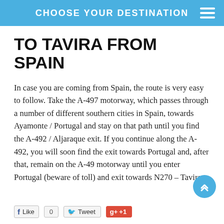CHOOSE YOUR DESTINATION
TO TAVIRA FROM SPAIN
In case you are coming from Spain, the route is very easy to follow. Take the A-497 motorway, which passes through a number of different southern cities in Spain, towards Ayamonte / Portugal and stay on that path until you find the A-492 / Aljaraque exit. If you continue along the A-492, you will soon find the exit towards Portugal and, after that, remain on the A-49 motorway until you enter Portugal (beware of toll) and exit towards N270 – Tavira.